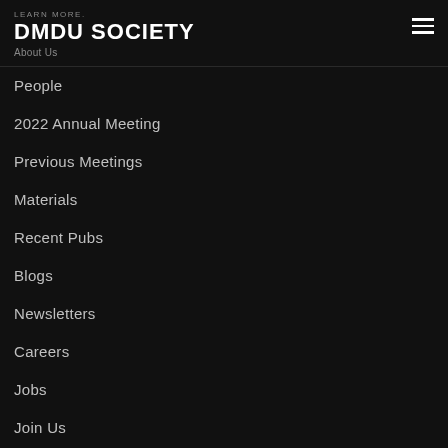LEARN MORE. DMDU SOCIETY About Us
People
2022 Annual Meeting
Previous Meetings
Materials
Recent Pubs
Blogs
Newsletters
Careers
Jobs
Join Us
Get Involved